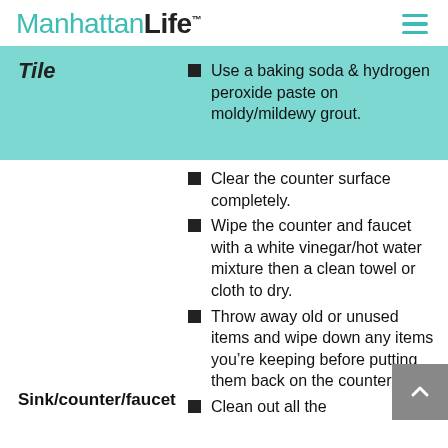ManhattanLife
Use a baking soda & hydrogen peroxide paste on moldy/mildewy grout.
Clear the counter surface completely.
Wipe the counter and faucet with a white vinegar/hot water mixture then a clean towel or cloth to dry.
Throw away old or unused items and wipe down any items you’re keeping before putting them back on the counter.
Sink/counter/faucet
Clean out all the